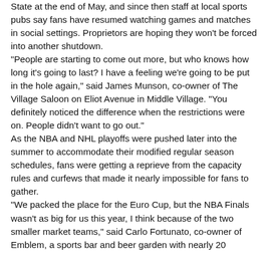State at the end of May, and since then staff at local sports pubs say fans have resumed watching games and matches in social settings. Proprietors are hoping they won't be forced into another shutdown.
"People are starting to come out more, but who knows how long it's going to last? I have a feeling we're going to be put in the hole again," said James Munson, co-owner of The Village Saloon on Eliot Avenue in Middle Village. "You definitely noticed the difference when the restrictions were on. People didn't want to go out."
As the NBA and NHL playoffs were pushed later into the summer to accommodate their modified regular season schedules, fans were getting a reprieve from the capacity rules and curfews that made it nearly impossible for fans to gather.
"We packed the place for the Euro Cup, but the NBA Finals wasn't as big for us this year, I think because of the two smaller market teams," said Carlo Fortunato, co-owner of Emblem, a sports bar and beer garden with nearly 20